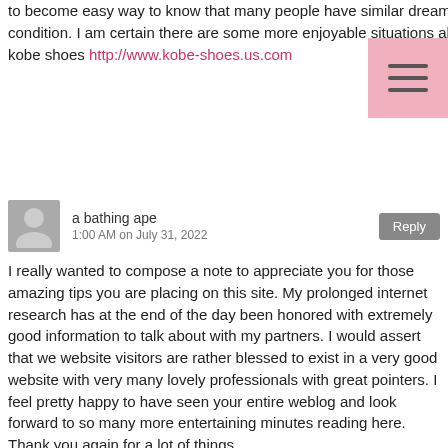to become easy way to know that many people have similar dreams like my personal own to find out way more regarding this condition. I am certain there are some more enjoyable situations ahead for folks who read your site.
kobe shoes http://www.kobe-shoes.us.com
a bathing ape
1:00 AM on July 31, 2022
[Reply]
I really wanted to compose a note to appreciate you for those amazing tips you are placing on this site. My prolonged internet research has at the end of the day been honored with extremely good information to talk about with my partners. I would assert that we website visitors are rather blessed to exist in a very good website with very many lovely professionals with great pointers. I feel pretty happy to have seen your entire weblog and look forward to so many more entertaining minutes reading here. Thank you again for a lot of things.
a bathing ape http://www.bape-clothing.us
goyard outlet
1:00 AM on July 31, 2022
[Reply]
I wish to show my respect for your kind-heartedness supporting people who have the need for assistance with your idea. Your very own dedication to getting the message all-around was unbelievably advantageous and have constantly made men and women just like me to attain their pursuits. Your amazing helpful instruction means